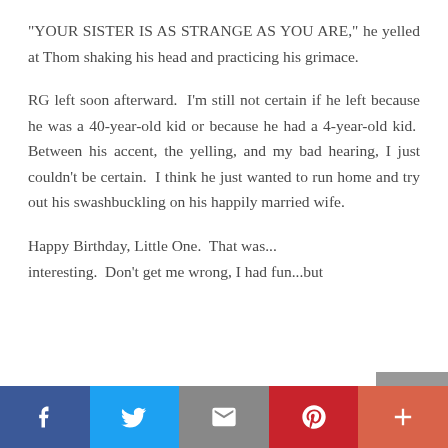“YOUR SISTER IS AS STRANGE AS YOU ARE,” he yelled at Thom shaking his head and practicing his grimace.
RG left soon afterward.  I’m still not certain if he left because he was a 40-year-old kid or because he had a 4-year-old kid.  Between his accent, the yelling, and my bad hearing, I just couldn’t be certain.  I think he just wanted to run home and try out his swashbuckling on his happily married wife.
Happy Birthday, Little One.  That was... interesting.  Don’t get me wrong, I had fun...but
[Figure (other): Social media sharing bar with Facebook (blue), Twitter (light blue), Email (gray), Pinterest (red), and Plus/More (orange-red) buttons]